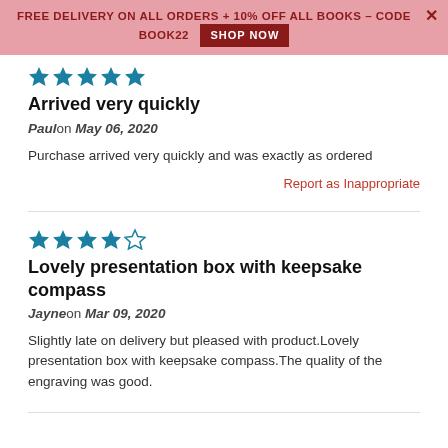FREE DELIVERY ON ALL ORDERS + 10% OFF ALL BOOKS – CODE BOOK22  SHOP NOW
[Figure (other): 5 filled star icons in teal/blue color]
Arrived very quickly
Paul on May 06, 2020
Purchase arrived very quickly and was exactly as ordered
Report as Inappropriate
[Figure (other): 4 filled stars and 1 empty star in teal/blue color]
Lovely presentation box with keepsake compass
Jayne on Mar 09, 2020
Slightly late on delivery but pleased with product.Lovely presentation box with keepsake compass.The quality of the engraving was good.